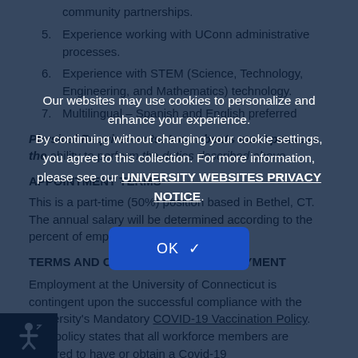community partnerships.
5. Experience working with UConn administrative processes.
6. Experience with STEM (Science, Technology, Engineering, and Mathematics) technology.
7. Multilingual – Spanish and English preferred
Physical Requirements: Incumbents must possess the ability to perform the duties described above.
APPOINTMENT TERMS
This is a part-time (50%) position based in Bethel, CT. The annual salary will be determined according to the percent of employment.
TERMS AND CONDITIONS OF EMPLOYMENT
Employment at the University of Connecticut is contingent upon the successful compliance with the University's Mandatory COVID-19 Vaccination Policy. This policy states that all workforce members are required to have or obtain a Covid-19
Our websites may use cookies to personalize and enhance your experience. By continuing without changing your cookie settings, you agree to this collection. For more information, please see our UNIVERSITY WEBSITES PRIVACY NOTICE.